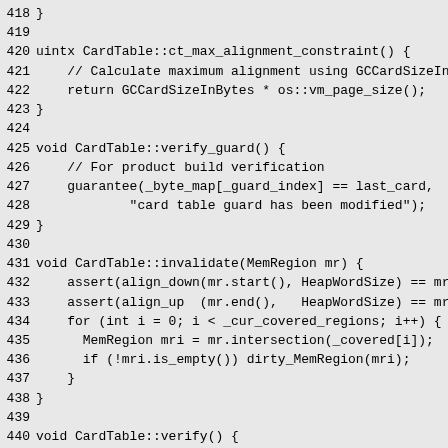418 }
419 
420 uintx CardTable::ct_max_alignment_constraint() {
421     // Calculate maximum alignment using GCCardSizeInBy
422     return GCCardSizeInBytes * os::vm_page_size();
423 }
424 
425 void CardTable::verify_guard() {
426     // For product build verification
427     guarantee(_byte_map[_guard_index] == last_card,
428             "card table guard has been modified");
429 }
430 
431 void CardTable::invalidate(MemRegion mr) {
432     assert(align_down(mr.start(), HeapWordSize) == mr.s
433     assert(align_up  (mr.end(),   HeapWordSize) == mr.e
434     for (int i = 0; i < _cur_covered_regions; i++) {
435       MemRegion mri = mr.intersection(_covered[i]);
436       if (!mri.is_empty()) dirty_MemRegion(mri);
437     }
438 }
439 
440 void CardTable::verify() {
441     verify_guard();
442 }
443 
444 #ifndef PRODUCT
445 void CardTable::verify_region(MemRegion mr, CardValue
446     CardValue* start    = byte_for(mr.start());
447     CardValue* end      = byte_for(mr.last());